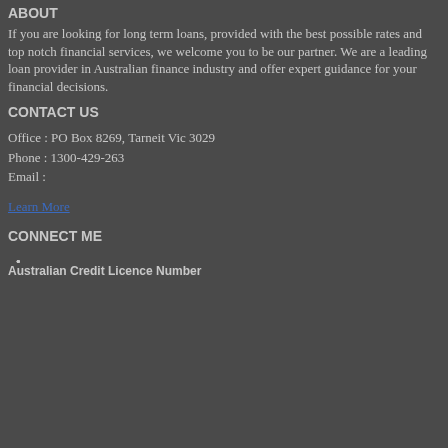ABOUT
If you are looking for long term loans, provided with the best possible rates and top notch financial services, we welcome you to be our partner. We are a leading loan provider in Australian finance industry and offer expert guidance for your financial decisions.
CONTACT US
Office : PO Box 8269, Tarneit Vic 3029
Phone : 1300-429-263
Email :
Learn More
CONNECT ME
Australian Credit Licence Number